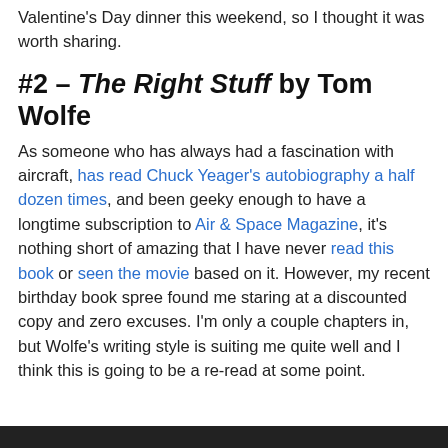Valentine's Day dinner this weekend, so I thought it was worth sharing.
#2 – The Right Stuff by Tom Wolfe
As someone who has always had a fascination with aircraft, has read Chuck Yeager's autobiography a half dozen times, and been geeky enough to have a longtime subscription to Air & Space Magazine, it's nothing short of amazing that I have never read this book or seen the movie based on it. However, my recent birthday book spree found me staring at a discounted copy and zero excuses. I'm only a couple chapters in, but Wolfe's writing style is suiting me quite well and I think this is going to be a re-read at some point.